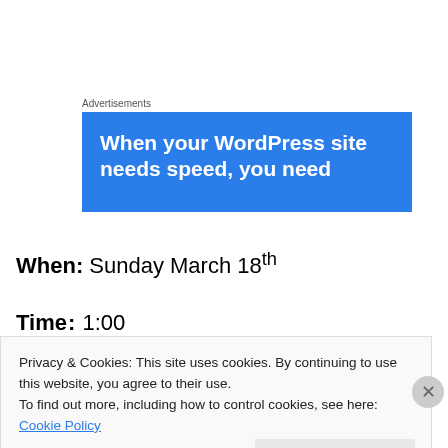Advertisements
[Figure (illustration): Blue advertisement banner with white bold text: 'When your WordPress site needs speed, you need']
When: Sunday March 18th
Time: 1:00
Privacy & Cookies: This site uses cookies. By continuing to use this website, you agree to their use.
To find out more, including how to control cookies, see here: Cookie Policy
Close and accept